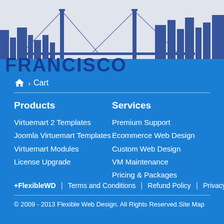[Figure (illustration): San Francisco skyline silhouette in dark blue on light grey background with FRANCISCO text in bold dark blue at bottom left. Bridge and city buildings visible.]
🏠 › Cart
Products
Virtuemart 2 Templates
Joomla Virtuemart Templates
Virtuemart Modules
License Upgrade
Services
Premium Support
Ecommerce Web Design
Custom Web Design
VM Maintenance
Pricing & Packages
+FlexibleWD | Terms and Conditions | Refund Policy | Privacy Policy
© 2009 - 2013 Flexible Web Design. All Rights Reserved.Site Map